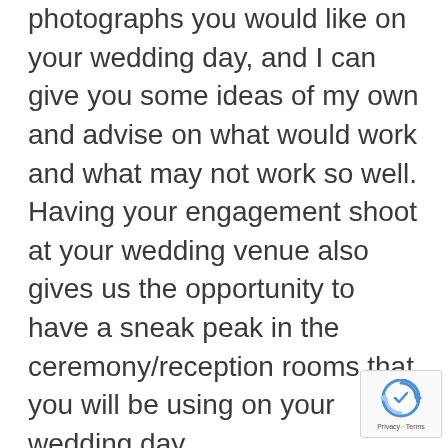photographs you would like on your wedding day, and I can give you some ideas of my own and advise on what would work and what may not work so well. Having your engagement shoot at your wedding venue also gives us the opportunity to have a sneak peak in the ceremony/reception rooms that you will be using on your wedding day.
[Figure (other): reCAPTCHA badge with Google logo and Privacy/Terms links]